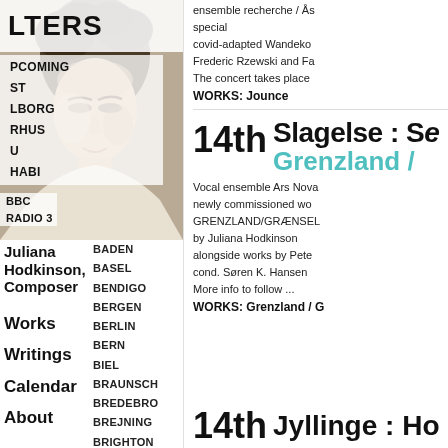[Figure (photo): Black and white photo of Juliana Hodkinson, a woman with curly hair looking downward]
LTERS (FILTERS)
UPCOMING
ST
LBORG
RHUS
U
HABI
BBC RADIO 3
Juliana Hodkinson, Composer
BADEN
BASEL
BENDIGO
BERGEN
BERLIN
BERN
BIEL
BRAUNSCH
BREDEBRO
BREJNING
BRIGHTON
Works
Writings
Calendar
About
ensemble recherche / Ås special covid-adapted Wandeko Frederic Rzewski and Fa The concert takes place
WORKS: Jounce
14th
Slagelse : Se
Grenzland /
Vocal ensemble Ars Nova newly commissioned wo GRENZLAND/GRÆNSEL by Juliana Hodkinson alongside works by Pete cond. Søren K. Hansen More info to follow ...
WORKS: Grenzland / G
14th
Jyllinge : Ho